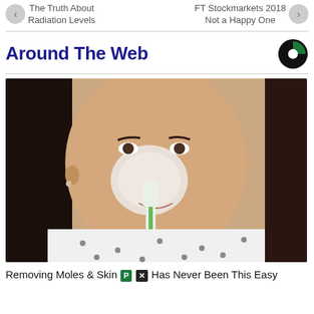The Truth About Radiation Levels | FT Stockmarkets 2018 Not a Happy One
Around The Web
[Figure (logo): Circular logo icon with green and black sections]
[Figure (photo): Woman applying white substance on nose area with a green toothbrush, wearing a patterned white shirt, with long dark hair]
Removing Moles & Skin [P] [X] Has Never Been This Easy